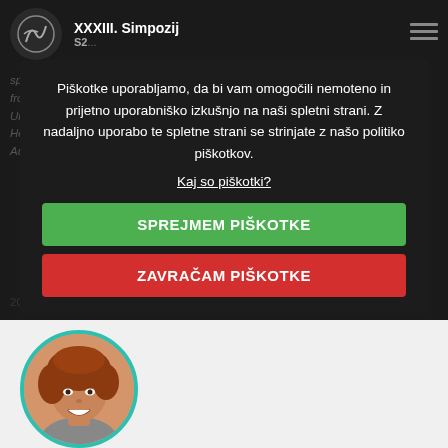XXXIII. Simpozij S2...
speaking and th... member and chair of the AO... of the AO course in Salzburg... from speaking Friends of AOVET in 2016 he... Instructor of the Year 2015 by the University of... Vienna. Since 2015 he has been a member... (VGH) Veterinary Hospital... Dalmatian veterinarians locally... in mentoring scientific and scientific... Austrian students and opened a new small veterinary clinic in Kigali, Rwanda in 2022.
Piškotke uporabljamo, da bi vam omogočili nemoteno in prijetno uporabniško izkušnjo na naši spletni strani. Z nadaljno uporabo te spletne strani se strinjate z našo politiko piškotkov.
Kaj so piškotki?
SPREJMEM PIŠKOTKE
ZAVRAČAM PIŠKOTKE
2022.
[Figure (photo): Circular portrait photo of a woman with curly red/auburn hair, smiling, with a teal/green circular border.]